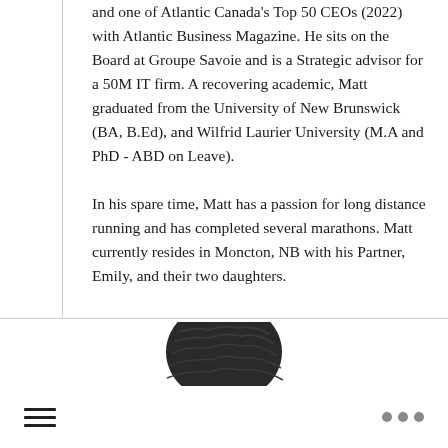and one of Atlantic Canada's Top 50 CEOs (2022) with Atlantic Business Magazine. He sits on the Board at Groupe Savoie and is a Strategic advisor for a 50M IT firm. A recovering academic, Matt graduated from the University of New Brunswick (BA, B.Ed), and Wilfrid Laurier University (M.A and PhD - ABD on Leave).
In his spare time, Matt has a passion for long distance running and has completed several marathons. Matt currently resides in Moncton, NB with his Partner, Emily, and their two daughters.
[Figure (photo): Top portion of a person's head showing dark hair, cropped at the bottom of the frame]